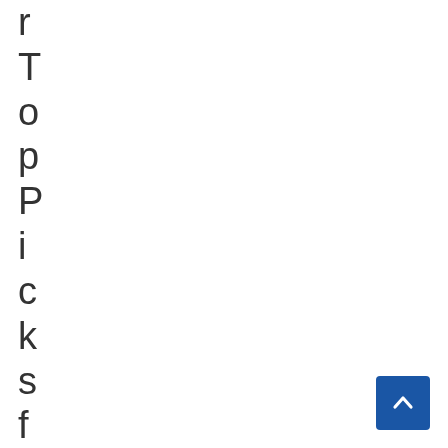r Top Picks for the
[Figure (other): Back to top button — a blue square button with a white upward-pointing chevron arrow icon in the bottom-right corner]